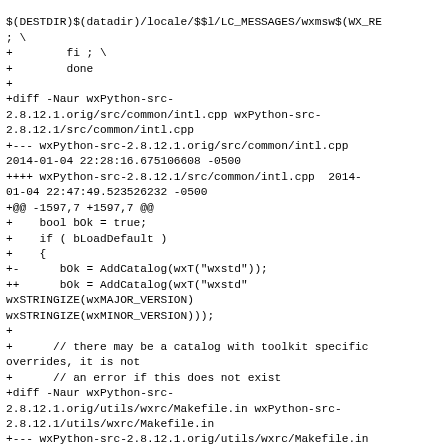$(DESTDIR)$(datadir)/locale/$$l/LC_MESSAGES/wxmsw$(WX_RE
; \
+        fi ; \
+        done
+
+diff -Naur wxPython-src-2.8.12.1.orig/src/common/intl.cpp wxPython-src-2.8.12.1/src/common/intl.cpp
+--- wxPython-src-2.8.12.1.orig/src/common/intl.cpp 2014-01-04 22:28:16.675106608 -0500
++++ wxPython-src-2.8.12.1/src/common/intl.cpp  2014-01-04 22:47:49.523526232 -0500
+@@ -1597,7 +1597,7 @@
+    bool bOk = true;
+    if ( bLoadDefault )
+    {
+-      bOk = AddCatalog(wxT("wxstd"));
+++      bOk = AddCatalog(wxT("wxstd" wxSTRINGIZE(wxMAJOR_VERSION) wxSTRINGIZE(wxMINOR_VERSION)));
++      bOk = AddCatalog(wxT("wxstd"
wxSTRINGIZE(wxMAJOR_VERSION)
wxSTRINGIZE(wxMINOR_VERSION)));
+
+      // there may be a catalog with toolkit specific overrides, it is not
+      // an error if this does not exist
+diff -Naur wxPython-src-2.8.12.1.orig/utils/wxrc/Makefile.in wxPython-src-2.8.12.1/utils/wxrc/Makefile.in
+--- wxPython-src-2.8.12.1.orig/utils/wxrc/Makefile.in 2014-01-04 22:28:16.335109635 -0500
++++ wxPython-src-2.8.12.1/utils/wxrc/Makefile.in